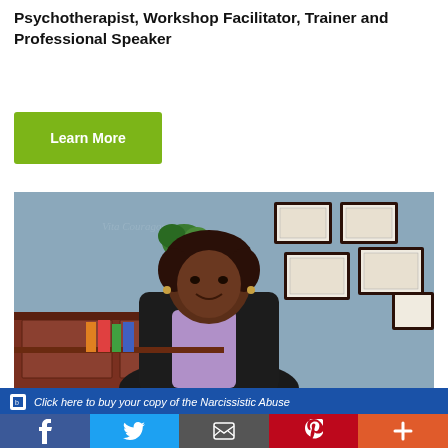Psychotherapist, Workshop Facilitator, Trainer and Professional Speaker
Learn More
[Figure (photo): A woman seated at a desk in an office, smiling at the camera. Behind her are a wooden cabinet, a plant, and framed certificates/diplomas on a blue-grey wall.]
Click here to buy your copy of the Narcissistic Abuse
f  [Twitter bird]  [Email]  p  +